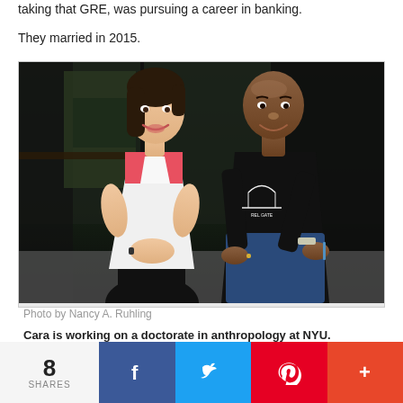taking that GRE, was pursuing a career in banking.
They married in 2015.
[Figure (photo): A woman with dark brown hair wearing a white and coral patterned top sits next to a bald man wearing a black t-shirt with a bridge graphic. They are seated outdoors near a dark wooden structure, both smiling at the camera.]
Photo by Nancy A. Ruhling
Cara is working on a doctorate in anthropology at NYU.
8 SHARES  [Facebook] [Twitter] [Pinterest] [More]